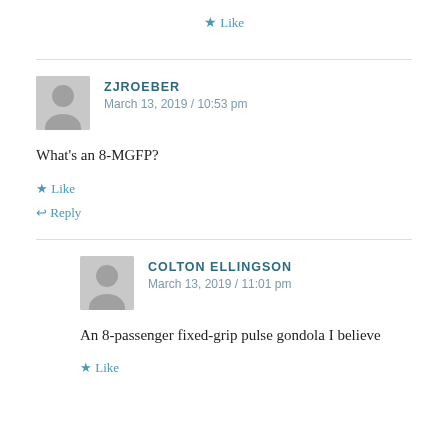★ Like
ZJROEBER
March 13, 2019 / 10:53 pm
What's an 8-MGFP?
★ Like
↩ Reply
COLTON ELLINGSON
March 13, 2019 / 11:01 pm
An 8-passenger fixed-grip pulse gondola I believe
★ Like